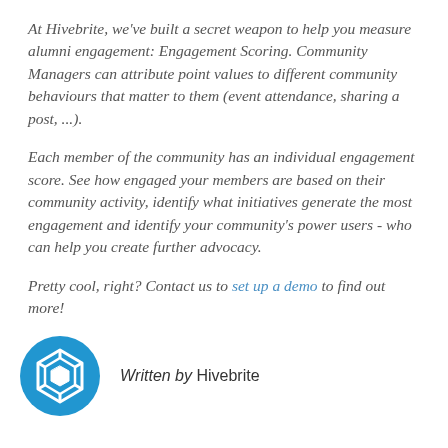At Hivebrite, we've built a secret weapon to help you measure alumni engagement: Engagement Scoring. Community Managers can attribute point values to different community behaviours that matter to them (event attendance, sharing a post, ...).
Each member of the community has an individual engagement score. See how engaged your members are based on their community activity, identify what initiatives generate the most engagement and identify your community's power users - who can help you create further advocacy.
Pretty cool, right? Contact us to set up a demo to find out more!
[Figure (logo): Hivebrite circular blue logo with hexagonal icon]
Written by Hivebrite